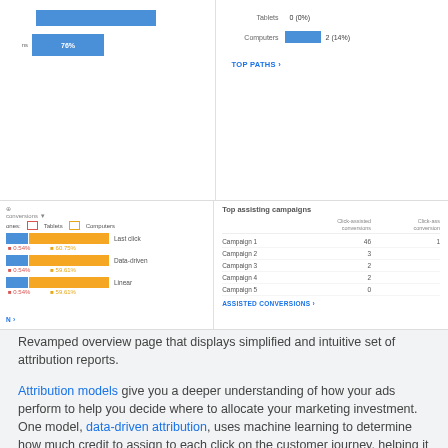[Figure (screenshot): Screenshot of Google Ads Attribution overview page showing two panels: left panel with horizontal bar chart showing device conversions with 76% label, right panel showing Tablets 0 (0%) and Computers 2 (14%) with a TOP PATHS link]
[Figure (screenshot): Screenshot of bottom two panels: left panel showing attribution model comparison with Last click, Data-driven, and Linear models for Tablets (0.54%) and Computers (60.75%, 59.61%, 59.61%), right panel showing Top assisting campaigns table with Campaign 1-5 and click-assisted conversions values (46,1; 3; 2; 2; 0) with ASSISTED CONVERSIONS link]
Revamped overview page that displays simplified and intuitive set of attribution reports.
Attribution models give you a deeper understanding of how your ads perform to help you decide where to allocate your marketing investment. One model, data-driven attribution, uses machine learning to determine how much credit to assign to each click on the customer journey, helping it better account for changes in customer behavior during turbulent times. For